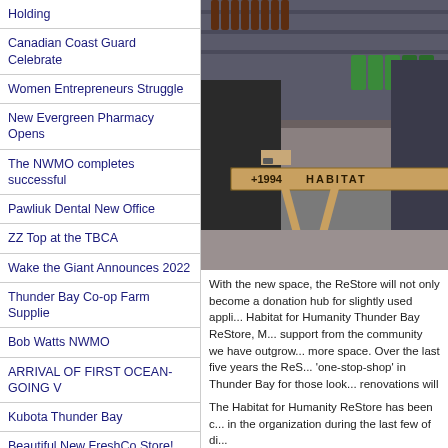Holding
Canadian Coast Guard Celebrate
Women Entrepreneurs Struggle
New Evergreen Pharmacy Opens
The NWMO completes successful
Pawliuk Dental New Office
ZZ Top at the TBCA
Wake the Giant Announces 2022
Thunder Bay Co-op Farm Supplie
Bob Watts NWMO
ARRIVAL OF FIRST OCEAN-GOING V
Kubota Thunder Bay
Beautiful New FreshCo Store!
Young Thunder Bay Pharmacist's
35 Years Is A Long Time
The Press and The Print
PLANES, AUTOMOBILES, SNOWMOBIL
[Figure (photo): A person holding a wooden beam with '1994 HABITAT' written on it, inside what appears to be the Habitat for Humanity ReStore, with shelves of products visible in the background.]
With the new space, the ReStore will not only become a donation hub for slightly used appli... Habitat for Humanity Thunder Bay ReStore, M... support from the community we have outgrow... more space. Over the last five years the ReS... 'one-stop-shop' in Thunder Bay for those look... renovations will support future growth and pr...
The Habitat for Humanity ReStore has been c... in the organization during the last few of di...